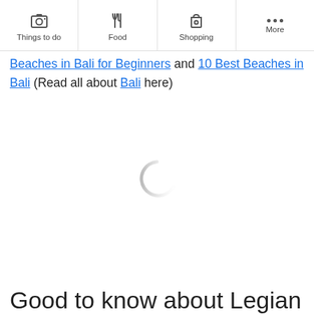Things to do | Food | Shopping | More
Beaches in Bali for Beginners and 10 Best Beaches in Bali (Read all about Bali here)
[Figure (other): Loading spinner (grey arc circle indicating content loading)]
Good to know about Legian